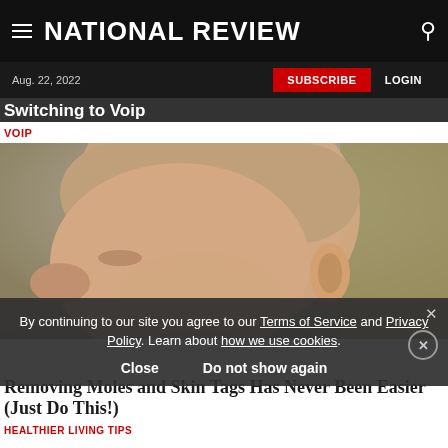NATIONAL REVIEW
Aug. 22, 2022
SUBSCRIBE   LOGIN
Switching to Voip
VOIP
[Figure (photo): Close-up side profile of a bald person's head and face, showing ear and facial features]
By continuing to our site you agree to our Terms of Service and Privacy Policy. Learn about how we use cookies.
Close   Do not show again
Removing Moles and Skin Tags Has Never Been Easier (Just Do This!)
HEALTHIER LIVING TIPS